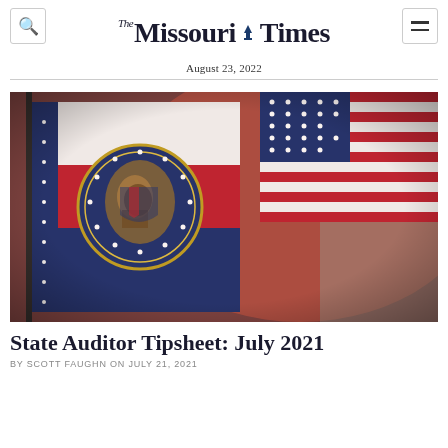The Missouri Times — August 23, 2022
[Figure (photo): Close-up photo of the Missouri state flag in the foreground showing the state seal, with the American flag visible in the background. Warm blurred red/brown tones in the background.]
State Auditor Tipsheet: July 2021
BY SCOTT FAUGHN ON JULY 21, 2021